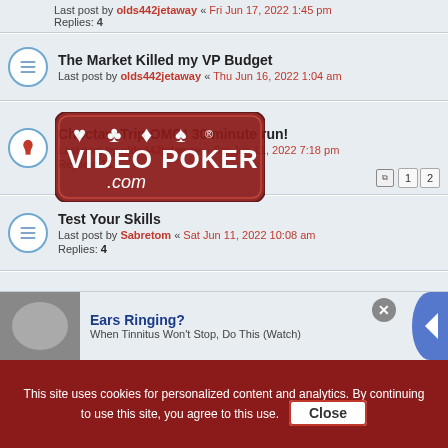Last post by olds442jetaway « Fri Jun 17, 2022 1:45 pm
Replies: 4
The Market Killed my VP Budget
Last post by olds442jetaway « Thu Jun 16, 2022 1:04 am
[Figure (logo): VideoPoker.com logo with card suit symbols]
Choctaw Trip OMG! 30 minute run!
Last post by olds442jetaway « Sat Jun 11, 2022 7:18 pm
Replies: 11
Test Your Skills
Last post by Sabretom « Sat Jun 11, 2022 10:08 am
Replies: 4
Video Poker for Winners Partially Affected
Last post by TopCats1 « Thu Jun 09, 2022 9:09 am
Replies: 14
Durant Choctaw VP?
Last post by FAA « Mon Jun 06, 2022 6:12 pm
Replies: 4
Ears Ringing?
When Tinnitus Won't Stop, Do This (Watch)
This site uses cookies for personalized content and analytics. By continuing to use this site, you agree to this use. Close